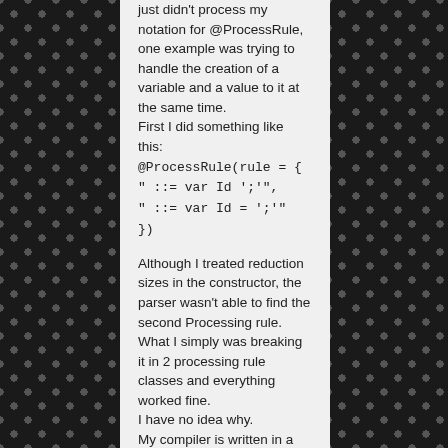just didn't process my notation for @ProcessRule, one example was trying to handle the creation of a variable and a value to it at the same time.
First I did something like this:
@ProcessRule(rule = {
" ::= var Id ';'",
" ::= var Id = ';'"
})

Although I treated reduction sizes in the constructor, the parser wasn't able to find the second Processing rule. What I simply was breaking it in 2 processing rule classes and everything worked fine.
I have no idea why.
My compiler is written in a mix of portuguese/english ( group partners prefer portuguese over english :S ) but I can send you over git if you wish.
With your projects I was able to finish